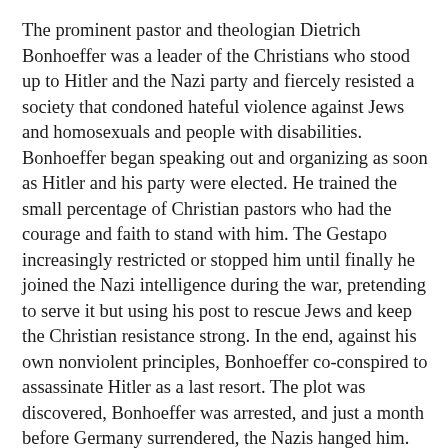The prominent pastor and theologian Dietrich Bonhoeffer was a leader of the Christians who stood up to Hitler and the Nazi party and fiercely resisted a society that condoned hateful violence against Jews and homosexuals and people with disabilities. Bonhoeffer began speaking out and organizing as soon as Hitler and his party were elected. He trained the small percentage of Christian pastors who had the courage and faith to stand with him. The Gestapo increasingly restricted or stopped him until finally he joined the Nazi intelligence during the war, pretending to serve it but using his post to rescue Jews and keep the Christian resistance strong. In the end, against his own nonviolent principles, Bonhoeffer co-conspired to assassinate Hitler as a last resort. The plot was discovered, Bonhoeffer was arrested, and just a month before Germany surrendered, the Nazis hanged him.